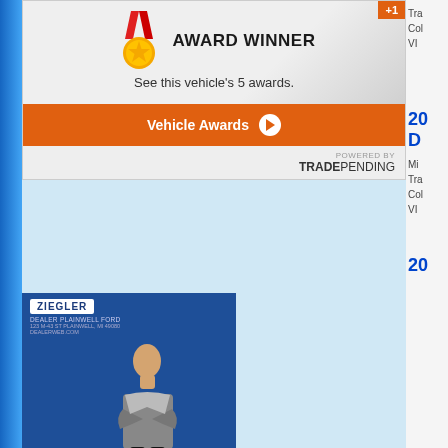[Figure (infographic): Award Winner badge with gold medal icon and text 'AWARD WINNER', subtitle 'See this vehicle's 5 awards.', orange button 'Vehicle Awards', powered by TradePending logo. Orange +1 tag in top right.]
[Figure (photo): Dealer advertisement image for Ziegler Plainwell Ford showing a woman with crossed arms, 'Call Now! (800)-689-5869']
[Figure (infographic): One of a Kind badge with magnifying glass and checkmark icon, text 'ONE OF A KIND', body text 'This vehicle is unique within a 50-mile radius. It's the only one currently for sale.', orange button 'Available Regionally: 1', powered by TradePending logo. Orange +2 tag in top right.]
[Figure (photo): Dealer advertisement image for Ziegler Plainwell Ford showing a woman]
Value Your Trade